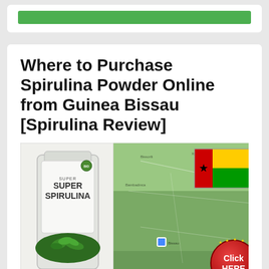[Figure (other): Green button/bar at top of first card]
Where to Purchase Spirulina Powder Online from Guinea Bissau [Spirulina Review]
[Figure (photo): Composite image showing a Super Spirulina product bag on the left with green leaves, and a satellite map of Guinea-Bissau on the right with the country flag and a red 'Click HERE' button with gold stars]
Home » Spirulina Powder » Where to Purchase Spirulina Powder Online